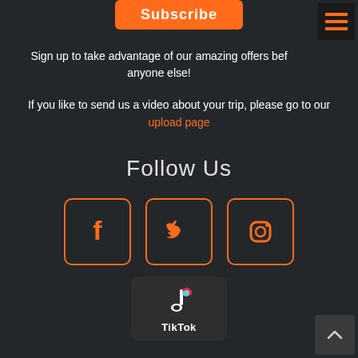Subscribe
Sign up to take advantage of our amazing offers before anyone else!
If you like to send us a video about your trip, please go to our upload page
Follow Us
[Figure (infographic): Three social media icons in orange-bordered boxes: Facebook (f), Twitter (bird), Instagram (camera)]
[Figure (logo): TikTok logo with musical note icon and TikTok text on dark background]